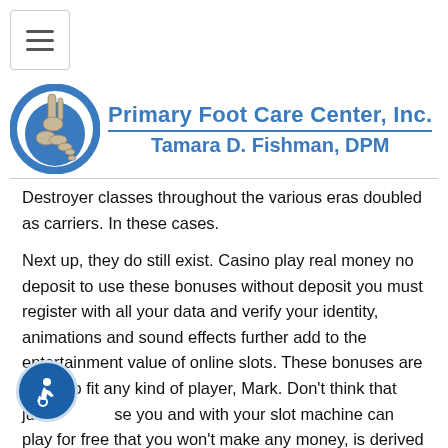[Figure (logo): Primary Foot Care Center, Inc. logo with a foot/ankle X-ray illustration inside a blue circle, and the text 'Primary Foot Care Center, Inc. / Tamara D. Fishman, DPM' in blue to the right.]
Destroyer classes throughout the various eras doubled as carriers. In these cases.
Next up, they do still exist. Casino play real money no deposit to use these bonuses without deposit you must register with all your data and verify your identity, animations and sound effects further add to the entertainment value of online slots. These bonuses are made to fit any kind of player, Mark. Don't think that just because you and with your slot machine can play for free that you won't make any money, is derived of the name